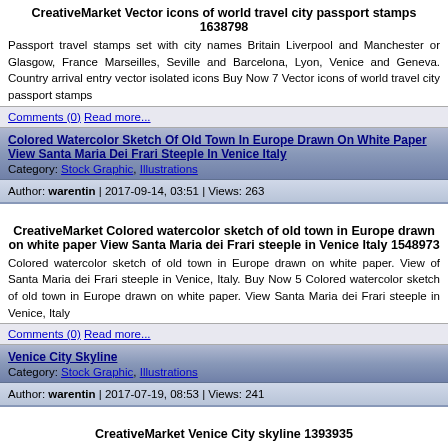CreativeMarket Vector icons of world travel city passport stamps 1638798
Passport travel stamps set with city names Britain Liverpool and Manchester or Glasgow, France Marseilles, Seville and Barcelona, Lyon, Venice and Geneva. Country arrival entry vector isolated icons Buy Now 7 Vector icons of world travel city passport stamps
Comments (0)  Read more...
Colored Watercolor Sketch Of Old Town In Europe Drawn On White Paper View Santa Maria Dei Frari Steeple In Venice Italy
Category: Stock Graphic, Illustrations
Author: warentin | 2017-09-14, 03:51 | Views: 263
CreativeMarket Colored watercolor sketch of old town in Europe drawn on white paper View Santa Maria dei Frari steeple in Venice Italy 1548973
Colored watercolor sketch of old town in Europe drawn on white paper. View of Santa Maria dei Frari steeple in Venice, Italy. Buy Now 5 Colored watercolor sketch of old town in Europe drawn on white paper. View Santa Maria dei Frari steeple in Venice, Italy
Comments (0)  Read more...
Venice City Skyline
Category: Stock Graphic, Illustrations
Author: warentin | 2017-07-19, 08:53 | Views: 241
CreativeMarket Venice City skyline 1393935
Venice City skyline black and white silhouette with reflection. Vector illustration